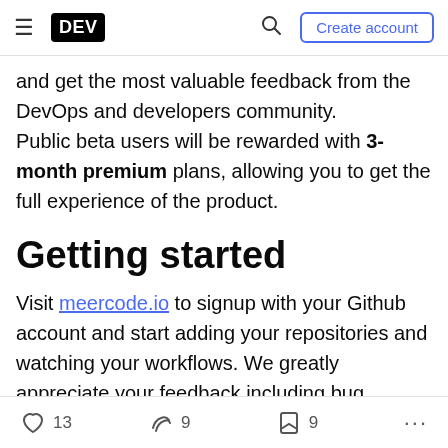DEV | Create account
and get the most valuable feedback from the DevOps and developers community. Public beta users will be rewarded with 3-month premium plans, allowing you to get the full experience of the product.
Getting started
Visit meercode.io to signup with your Github account and start adding your repositories and watching your workflows. We greatly appreciate your feedback including bug reports, feature requests, and product ideas. To contact us, you may use the feedback form
13  9  9  ...